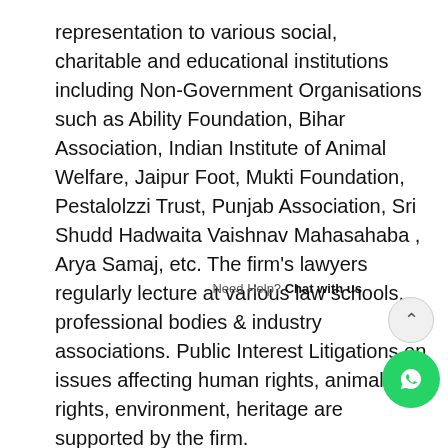representation to various social, charitable and educational institutions including Non-Government Organisations such as Ability Foundation, Bihar Association, Indian Institute of Animal Welfare, Jaipur Foot, Mukti Foundation, Pestalolzzi Trust, Punjab Association, Sri Shudd Hadwaita Vaishnav Mahasahaba , Arya Samaj, etc. The firm's lawyers regularly lecture at various law schools, professional bodies & industry associations. Public Interest Litigations on issues affecting human rights, animal rights, environment, heritage are supported by the firm.
Founder Mr. P. S. Surana appeared before the parliamentary committee for
[Figure (other): WhatsApp chat widget with scroll-up button and green WhatsApp icon. Shows 'Need Help? Chat with us' label.]